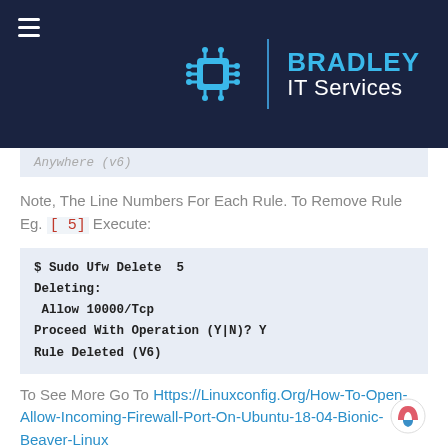[Figure (logo): Bradley IT Services logo — hamburger menu icon top-left, chip/circuit icon and text on dark navy header background]
Anywhere (v6)
Note, The Line Numbers For Each Rule. To Remove Rule Eg. [ 5] Execute:
$ Sudo Ufw Delete  5
Deleting:
 Allow 10000/Tcp
Proceed With Operation (Y|N)? Y
Rule Deleted (V6)
To See More Go To Https://Linuxconfig.Org/How-To-Open-Allow-Incoming-Firewall-Port-On-Ubuntu-18-04-Bionic-Beaver-Linux